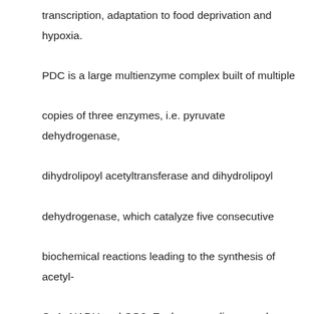transcription, adaptation to food deprivation and hypoxia. PDC is a large multienzyme complex built of multiple copies of three enzymes, i.e. pyruvate dehydrogenase, dihydrolipoyl acetyltransferase and dihydrolipoyl dehydrogenase, which catalyze five consecutive biochemical reactions leading to the synthesis of acetyl-CoA, NADH and CO2. Each mammalian complex also contains small amounts of two regulatory enzymes, i.e. pyruvate dehydrogenase kinase and pyruvate dehydrogenase phosphatase that regulate PDC activity by phosphorylation (inactivation) and dephosphorylation (activation), respectively. The long-term objective of this laboratory is to understand the molecular mechanisms governing the regulation of pyruvate dehydrogenase